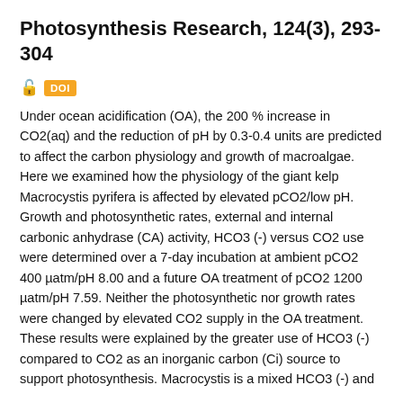Photosynthesis Research, 124(3), 293-304
DOI
Under ocean acidification (OA), the 200 % increase in CO2(aq) and the reduction of pH by 0.3-0.4 units are predicted to affect the carbon physiology and growth of macroalgae. Here we examined how the physiology of the giant kelp Macrocystis pyrifera is affected by elevated pCO2/low pH. Growth and photosynthetic rates, external and internal carbonic anhydrase (CA) activity, HCO3 (-) versus CO2 use were determined over a 7-day incubation at ambient pCO2 400 µatm/pH 8.00 and a future OA treatment of pCO2 1200 µatm/pH 7.59. Neither the photosynthetic nor growth rates were changed by elevated CO2 supply in the OA treatment. These results were explained by the greater use of HCO3 (-) compared to CO2 as an inorganic carbon (Ci) source to support photosynthesis. Macrocystis is a mixed HCO3 (-) and